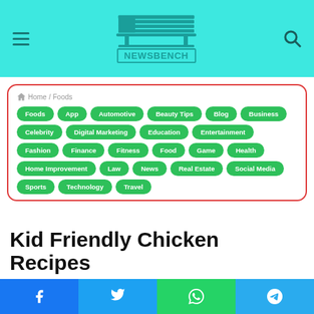NewsBench - navigation header with logo
Home / Foods
Foods
App
Automotive
Beauty Tips
Blog
Business
Celebrity
Digital Marketing
Education
Entertainment
Fashion
Finance
Fitness
Food
Game
Health
Home Improvement
Law
News
Real Estate
Social Media
Sports
Technology
Travel
Kid Friendly Chicken Recipes
Social share buttons: Facebook, Twitter, WhatsApp, Telegram